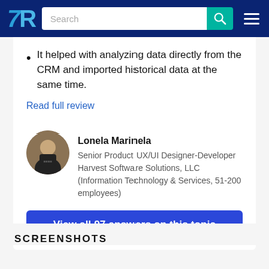TrustRadius - Search
It helped with analyzing data directly from the CRM and imported historical data at the same time.
Read full review
Lonela Marinela
Senior Product UX/UI Designer-Developer
Harvest Software Solutions, LLC (Information Technology & Services, 51-200 employees)
View all 97 answers on this topic
SCREENSHOTS